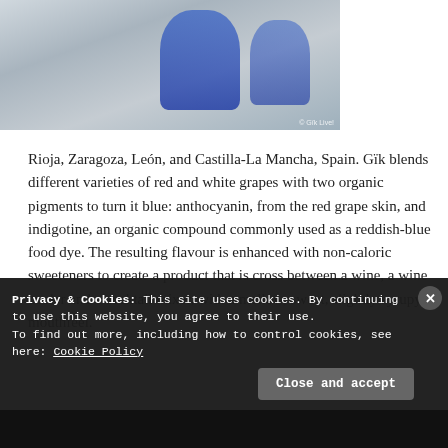[Figure (photo): Photo of blue wine being poured into glasses, with a person in white in the background. Watermark © Gik Live visible.]
from vineyards in La
Rioja, Zaragoza, León, and Castilla-La Mancha, Spain. Gïk blends different varieties of red and white grapes with two organic pigments to turn it blue: anthocyanin, from the red grape skin, and indigotine, an organic compound commonly used as a reddish-blue food dye. The resulting flavour is enhanced with non-caloric sweeteners to create a product that is cross between a wine, a wine cooler and a cocktail mixer, with a mellow, sweet, slightly syrupy mouthfeel.
Privacy & Cookies: This site uses cookies. By continuing to use this website, you agree to their use.
To find out more, including how to control cookies, see here: Cookie Policy
Close and accept